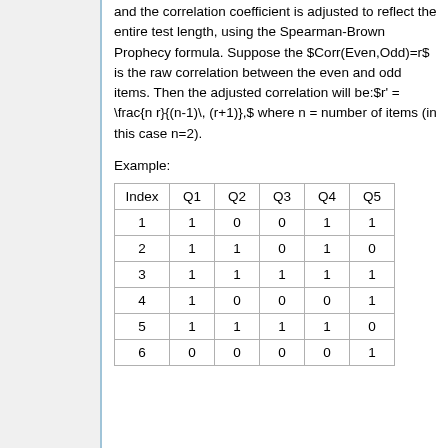and the correlation coefficient is adjusted to reflect the entire test length, using the Spearman-Brown Prophecy formula. Suppose the $Corr(Even,Odd)=r$ is the raw correlation between the even and odd items. Then the adjusted correlation will be:$r' = \frac{n r}{(n-1)\, (r+1)},$  where n = number of items (in this case n=2).
Example:
| Index | Q1 | Q2 | Q3 | Q4 | Q5 |
| --- | --- | --- | --- | --- | --- |
| 1 | 1 | 0 | 0 | 1 | 1 |
| 2 | 1 | 1 | 0 | 1 | 0 |
| 3 | 1 | 1 | 1 | 1 | 1 |
| 4 | 1 | 0 | 0 | 0 | 1 |
| 5 | 1 | 1 | 1 | 1 | 0 |
| 6 | 0 | 0 | 0 | 0 | 1 |